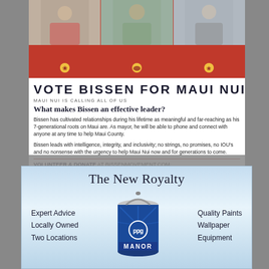[Figure (photo): Three-column photo strip of people with red background and Hawaiian icons, labeled Kama'aina Prosperity, Pono Politics, Collective Kuleana]
VOTE BISSEN FOR MAUI NUI
MAUI NUI IS CALLING ALL OF US
What makes Bissen an effective leader?
Bissen has cultivated relationships during his lifetime as meaningful and far-reaching as his 7-generational roots on Maui are. As mayor, he will be able to phone and connect with anyone at any time to help Maui County.
Bissen leads with intelligence, integrity, and inclusivity; no strings, no promises, no IOU's and no nonsense with the urgency to help Maui Nui now and for generations to come.
VOLUNTEER & DONATE AT BISSENMOVEMENT.COM
aloha@bissenmovement.com | bissenmovement.com | 1-833-4BISSEN | PO Box 3083 Wailuku, HI 96793
[Figure (advertisement): PPG Manor Paint advertisement with blue paint can. Title: The New Royalty. Left text: Expert Advice, Locally Owned, Two Locations. Right text: Quality Paints, Wallpaper, Equipment.]
The New Royalty
Expert Advice
Locally Owned
Two Locations
Quality Paints
Wallpaper
Equipment